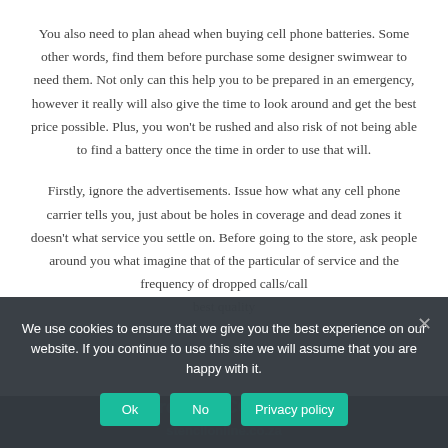You also need to plan ahead when buying cell phone batteries. Some other words, find them before purchase some designer swimwear to need them. Not only can this help you to be prepared in an emergency, however it really will also give the time to look around and get the best price possible. Plus, you won't be rushed and also risk of not being able to find a battery once the time in order to use that will.
Firstly, ignore the advertisements. Issue how what any cell phone carrier tells you, just about be holes in coverage and dead zones it doesn't what service you settle on. Before going to the store, ask people around you what imagine that of the particular of service and the frequency of dropped calls/call
[Figure (screenshot): Cookie consent overlay with dark background. Text: 'We use cookies to ensure that we give you the best experience on our website. If you continue to use this site we will assume that you are happy with it.' Three buttons: Ok, No, Privacy policy. Close X button top right. Dark bar at bottom with partially visible green text.]